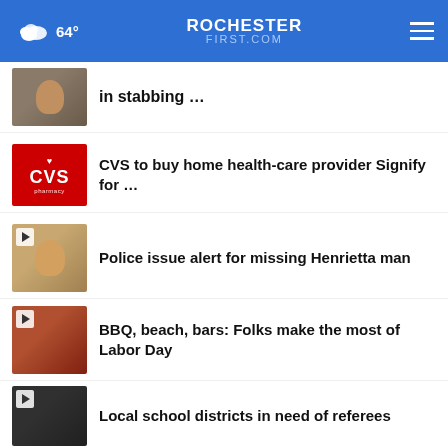64° ROCHESTER FIRST.COM
in stabbing …
CVS to buy home health-care provider Signify for …
Police issue alert for missing Henrietta man
BBQ, beach, bars: Folks make the most of Labor Day
Local school districts in need of referees
More Stories ›